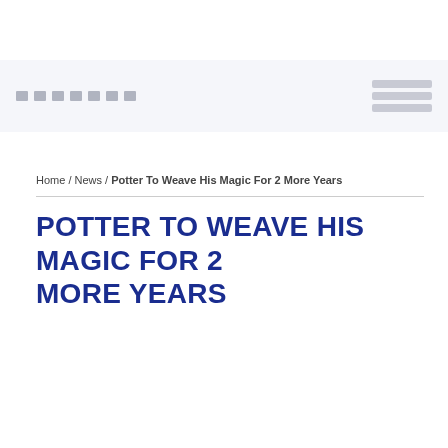Home / News / Potter To Weave His Magic For 2 More Years
POTTER TO WEAVE HIS MAGIC FOR 2 MORE YEARS